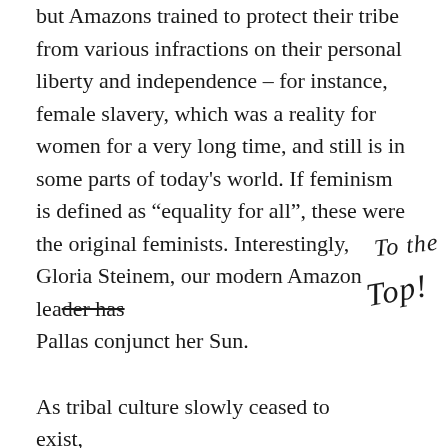but Amazons trained to protect their tribe from various infractions on their personal liberty and independence – for instance, female slavery, which was a reality for women for a very long time, and still is in some parts of today's world. If feminism is defined as "equality for all", these were the original feminists. Interestingly, Gloria Steinem, our modern Amazon leader has Pallas conjunct her Sun.

As tribal culture slowly ceased to exist, Pallas/Diana had to shift her outward form, too. The hunter, warrior, strategist and healer moved from the plains and into the cities, as women fighting for equality in the courtroom,